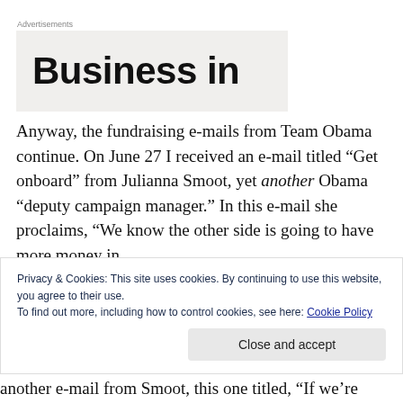Advertisements
[Figure (other): Advertisement banner showing large bold text 'Business in' on a light gray background]
Anyway, the fundraising e-mails from Team Obama continue. On June 27 I received an e-mail titled “Get onboard” from Julianna Smoot, yet another Obama “deputy campaign manager.” In this e-mail she proclaims, “We know the other side is going to have more money in
Privacy & Cookies: This site uses cookies. By continuing to use this website, you agree to their use.
To find out more, including how to control cookies, see here: Cookie Policy
Close and accept
another e-mail from Smoot, this one titled, “If we’re